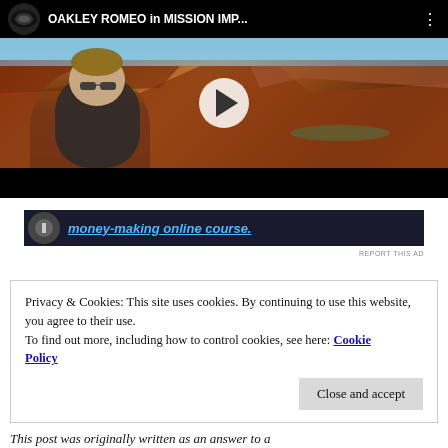[Figure (screenshot): YouTube video thumbnail showing a person wearing Oakley Romeo sunglasses standing in front of a canyon landscape. Video title reads 'OAKLEY ROMEO in MISSION IMP...' with Oakley logo and three-dot menu. A play button is centered on the thumbnail. The video controls bar is visible at the bottom.]
[Figure (screenshot): Partial advertisement banner with dark background showing a round icon and blue italic underlined text: 'money-making online course.']
REPORT THIS AD
Privacy & Cookies: This site uses cookies. By continuing to use this website, you agree to their use.
To find out more, including how to control cookies, see here: Cookie Policy
Close and accept
This post was originally written as an answer to a